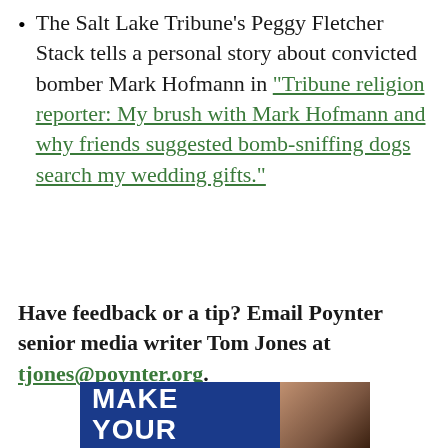The Salt Lake Tribune's Peggy Fletcher Stack tells a personal story about convicted bomber Mark Hofmann in “Tribune religion reporter: My brush with Mark Hofmann and why friends suggested bomb-sniffing dogs search my wedding gifts.”
Have feedback or a tip? Email Poynter senior media writer Tom Jones at tjones@poynter.org.
[Figure (other): Advertisement banner with dark blue background showing 'MAKE YOUR' in large bold white text on the left and a photo of a person on the right.]